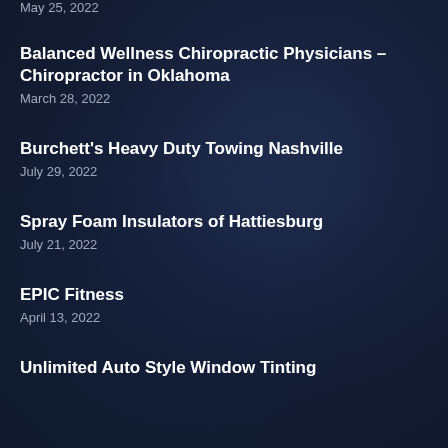May 25, 2022
Balanced Wellness Chiropractic Physicians – Chiropractor in Oklahoma
March 28, 2022
Burchett's Heavy Duty Towing Nashville
July 29, 2022
Spray Foam Insulators of Hattiesburg
July 21, 2022
EPIC Fitness
April 13, 2022
Unlimited Auto Style Window Tinting